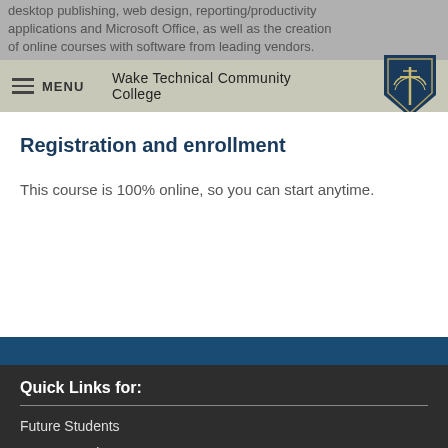desktop publishing, web design, reporting/productivity applications and Microsoft Office, as well as the creation of online courses with software from leading vendors.
Wake Technical Community College | MENU
Registration and enrollment
This course is 100% online, so you can start anytime.
Quick Links for:
Future Students
Current Students
Visiting Students